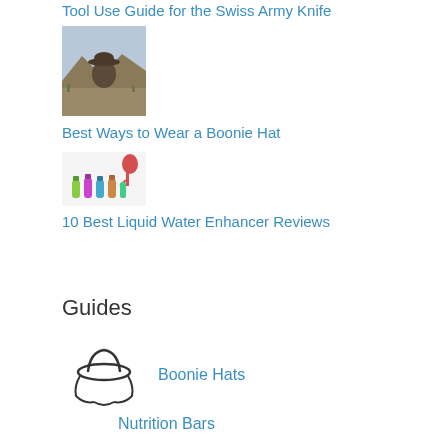Tool Use Guide for the Swiss Army Knife
[Figure (photo): Person wearing a boonie hat outdoors in a field/desert landscape]
Best Ways to Wear a Boonie Hat
[Figure (photo): Colorful liquid water enhancer bottles/drops products]
10 Best Liquid Water Enhancer Reviews
Guides
[Figure (illustration): Boonie hat icon/outline drawing]
Boonie Hats
Nutrition Bars